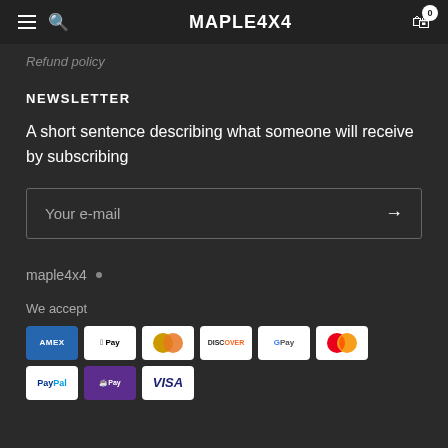MAPLE4X4
Refund policy
NEWSLETTER
A short sentence describing what someone will receive by subscribing
Your e-mail
maple4x4
We accept